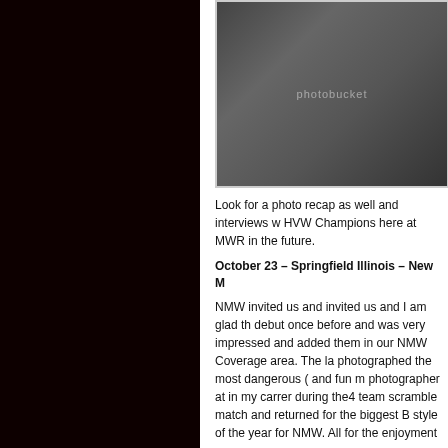[Figure (photo): Wrestling event photo showing a wrestler kneeling with a championship belt raised, alongside other people, with a Photobucket watermark overlay]
Look for a photo recap as well and interviews w HVW Champions here at MWR in the future.
October 23 – Springfield Illinois – New M
NMW invited us and invited us and I am glad th debut once before and was very impressed and added them in our NMW Coverage area. The la photographed the most dangerous ( and fun m photographer at in my carrer during the4 team scramble match and returned for the biggest B style of the year for NMW. All for the enjoyment
The MWR Wrestler of the Week was up and c Rose. Look for more information about this exc